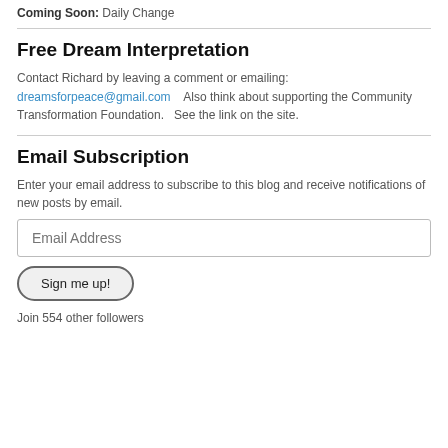Coming Soon: Daily Change
Free Dream Interpretation
Contact Richard by leaving a comment or emailing: dreamsforpeace@gmail.com    Also think about supporting the Community Transformation Foundation.   See the link on the site.
Email Subscription
Enter your email address to subscribe to this blog and receive notifications of new posts by email.
Email Address
Sign me up!
Join 554 other followers